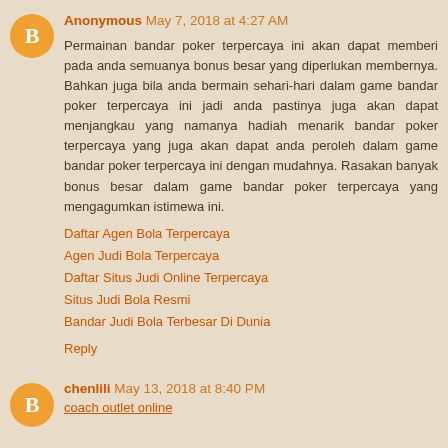Anonymous May 7, 2018 at 4:27 AM
Permainan bandar poker terpercaya ini akan dapat memberi pada anda semuanya bonus besar yang diperlukan membernya. Bahkan juga bila anda bermain sehari-hari dalam game bandar poker terpercaya ini jadi anda pastinya juga akan dapat menjangkau yang namanya hadiah menarik bandar poker terpercaya yang juga akan dapat anda peroleh dalam game bandar poker terpercaya ini dengan mudahnya. Rasakan banyak bonus besar dalam game bandar poker terpercaya yang mengagumkan istimewa ini.
Daftar Agen Bola Terpercaya
Agen Judi Bola Terpercaya
Daftar Situs Judi Online Terpercaya
Situs Judi Bola Resmi
Bandar Judi Bola Terbesar Di Dunia
Reply
chenlili May 13, 2018 at 8:40 PM
coach outlet online